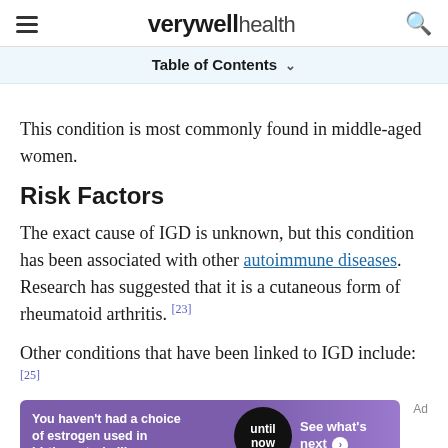verywell health
Table of Contents
This condition is most commonly found in middle-aged women.
Risk Factors
The exact cause of IGD is unknown, but this condition has been associated with other autoimmune diseases. Research has suggested that it is a cutaneous form of rheumatoid arthritis. [23]
Other conditions that have been linked to IGD include: [25]
[Figure (other): Advertisement banner: 'You haven't had a choice of estrogen used in birth control pills until now See what's next' PM-US-NEX-0188 4/22]